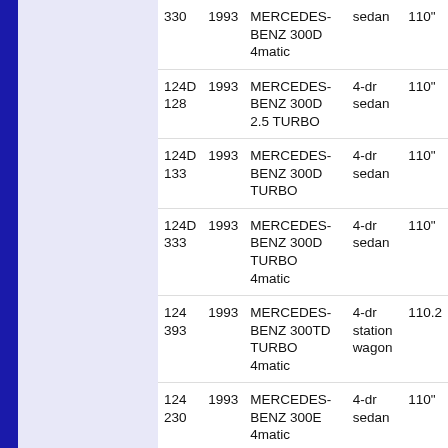| Code | Year | Make/Model | Body | WB |
| --- | --- | --- | --- | --- |
| 330 | 1993 | MERCEDES-BENZ 300D 4matic | sedan | 110" |
| 124D 128 | 1993 | MERCEDES-BENZ 300D 2.5 TURBO | 4-dr sedan | 110" |
| 124D 133 | 1993 | MERCEDES-BENZ 300D TURBO | 4-dr sedan | 110" |
| 124D 333 | 1993 | MERCEDES-BENZ 300D TURBO 4matic | 4-dr sedan | 110" |
| 124 393 | 1993 | MERCEDES-BENZ 300TD TURBO 4matic | 4-dr station wagon | 110.2 |
| 124 230 | 1993 | MERCEDES-BENZ 300E 4matic | 4-dr sedan | 110" |